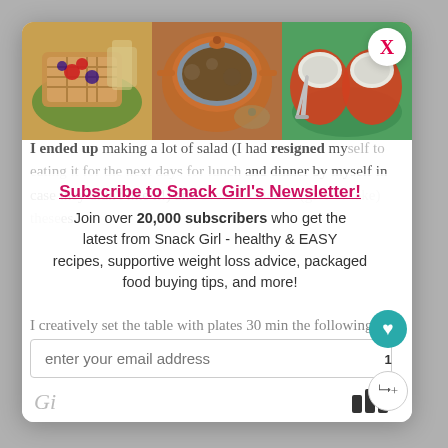[Figure (photo): Three food photos side by side: waffles with berries on a green plate, a dutch oven pot with chili/stew, and stuffed bell peppers with cheese on a green plate.]
I ended up making a lot of salad (I had resigned myself to eating it for the next days for lunch and dinner by myself in case they didn't like it!) and over 20 calories (give or take) these.
Subscribe to Snack Girl's Newsletter!
Join over 20,000 subscribers who get the latest from Snack Girl - healthy & EASY recipes, supportive weight loss advice, packaged food buying tips, and more!
enter your email address
Gi